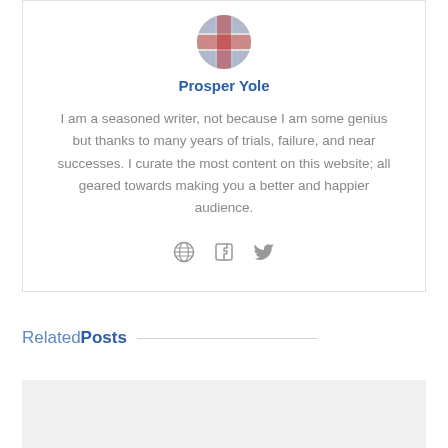[Figure (photo): Circular avatar photo of Prosper Yole with a flag design]
Prosper Yole
I am a seasoned writer, not because I am some genius but thanks to many years of trials, failure, and near successes. I curate the most content on this website; all geared towards making you a better and happier audience.
[Figure (infographic): Social media icons: globe, Facebook, Twitter]
Related Posts
[Figure (photo): Large image placeholder for related post]